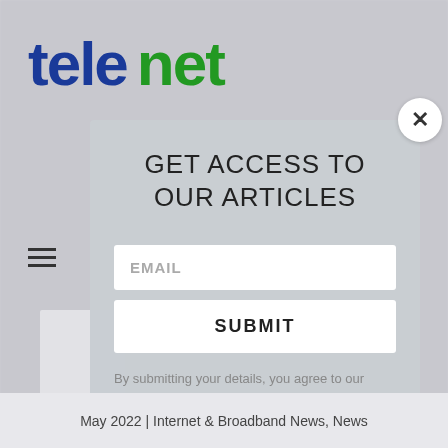[Figure (logo): tele.net logo with 'tele' in dark blue and 'net' in green, bold large font]
GET ACCESS TO OUR ARTICLES
EMAIL
SUBMIT
By submitting your details, you agree to our Privacy Policy
May 2022 | Internet & Broadband News, News